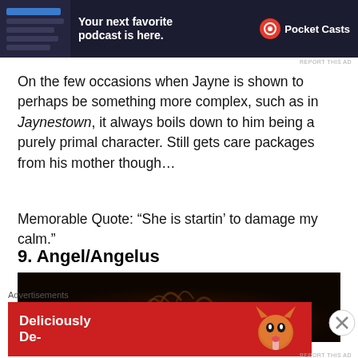[Figure (screenshot): Advertisement banner for Pocket Casts podcast app at top of page showing app interface and 'Your next favorite podcast is here.' with Pocket Casts logo]
On the few occasions when Jayne is shown to perhaps be something more complex, such as in Jaynestown, it always boils down to him being a purely primal character. Still gets care packages from his mother though…
Memorable Quote: “She is startin’ to damage my calm.”
9. Angel/Angelus
[Figure (photo): Dark photograph showing the top of a person's head with dark hair against a very dark background]
Advertisements
[Figure (screenshot): Red advertisement banner showing 'Deliciously De-' text with an orange cat image]